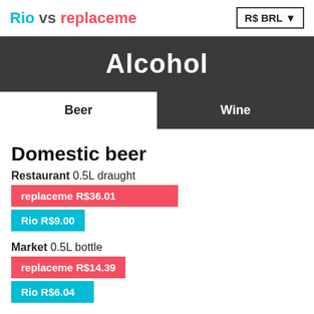Rio vs replaceme | R$ BRL
Alcohol
Beer | Wine
Domestic beer
Restaurant 0.5L draught
replaceme R$36.01
Rio R$9.00
Market 0.5L bottle
replaceme R$14.39
Rio R$6.04
Imported beer